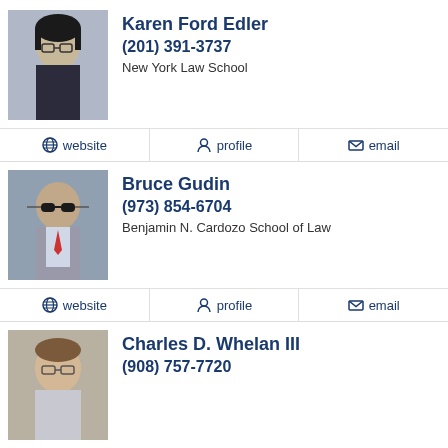[Figure (photo): Headshot of Karen Ford Edler, a woman with dark hair and glasses]
Karen Ford Edler
(201) 391-3737
New York Law School
website
profile
email
[Figure (photo): Headshot of Bruce Gudin, a man with sunglasses]
Bruce Gudin
(973) 854-6704
Benjamin N. Cardozo School of Law
website
profile
email
[Figure (photo): Headshot of Charles D. Whelan III, a man with glasses]
Charles D. Whelan III
(908) 757-7720
website
profile
email